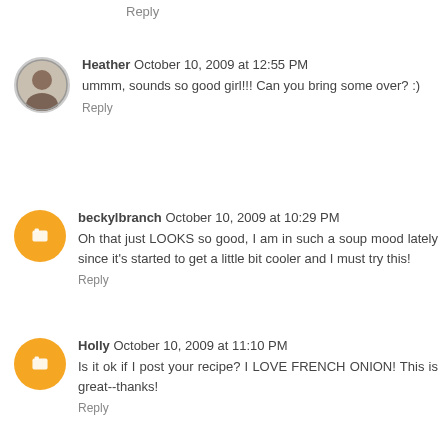Reply
Heather  October 10, 2009 at 12:55 PM
ummm, sounds so good girl!!! Can you bring some over? :)
Reply
beckylbranch  October 10, 2009 at 10:29 PM
Oh that just LOOKS so good, I am in such a soup mood lately since it's started to get a little bit cooler and I must try this!
Reply
Holly  October 10, 2009 at 11:10 PM
Is it ok if I post your recipe? I LOVE FRENCH ONION! This is great--thanks!
Reply